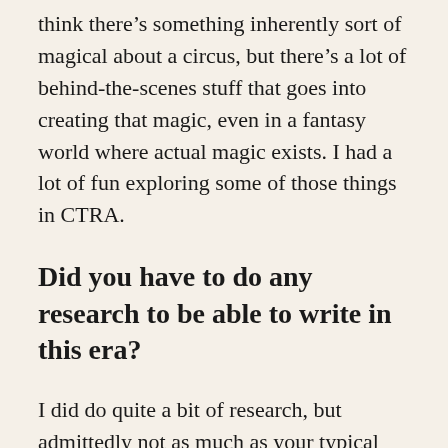think there's something inherently sort of magical about a circus, but there's a lot of behind-the-scenes stuff that goes into creating that magic, even in a fantasy world where actual magic exists. I had a lot of fun exploring some of those things in CTRA.
Did you have to do any research to be able to write in this era?
I did do quite a bit of research, but admittedly not as much as your typical historical fiction or historical fantasy writer might do. Researching becomes tedious to me very quickly, so I did what I felt was enough to